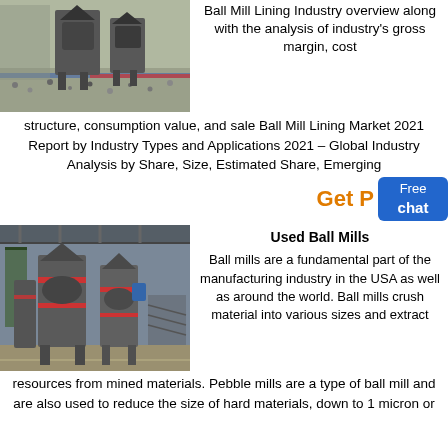[Figure (photo): Industrial ball mill machine in a factory setting with gravel/ore on the floor, grey machinery with red base accents]
Ball Mill Lining Industry overview along with the analysis of industry's gross margin, cost structure, consumption value, and sale Ball Mill Lining Market 2021 Report by Industry Types and Applications 2021 – Global Industry Analysis by Share, Size, Estimated Share, Emerging
Get P
[Figure (other): Blue rounded rectangle badge with text 'Free chat' in white]
Used Ball Mills
[Figure (photo): Large industrial ball mills / grinding mills inside a factory warehouse, dark grey machines with red accent rings]
Ball mills are a fundamental part of the manufacturing industry in the USA as well as around the world. Ball mills crush material into various sizes and extract resources from mined materials. Pebble mills are a type of ball mill and are also used to reduce the size of hard materials, down to 1 micron or